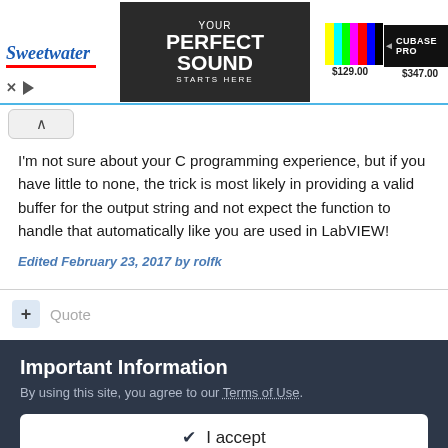[Figure (screenshot): Sweetwater advertisement banner with 'Your Perfect Sound Starts Here' text and product images including items priced at $129.00 and $347.00]
I'm not sure about your C programming experience, but if you have little to none, the trick is most likely in providing a valid buffer for the output string and not expect the function to handle that automatically like you are used in LabVIEW!
Edited February 23, 2017 by rolfk
+ Quote
Important Information
By using this site, you agree to our Terms of Use.
✓ I accept